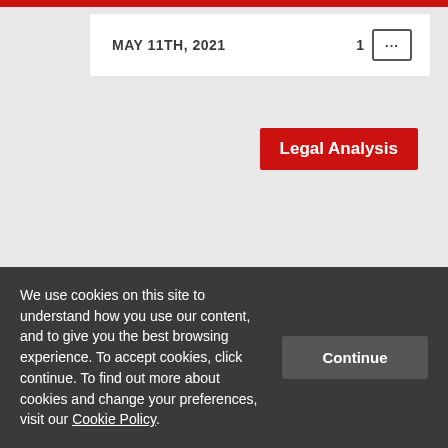MAY 11TH, 2021
[Figure (other): Red 'Legal Analysis' badge label]
By decriminalising domestic violence Russia takes a step
We use cookies on this site to understand how you use our content, and to give you the best browsing experience. To accept cookies, click continue. To find out more about cookies and change your preferences, visit our Cookie Policy.